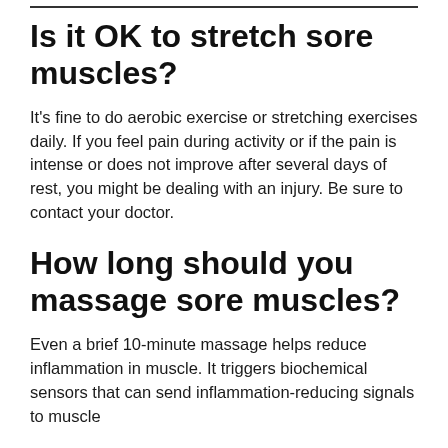Is it OK to stretch sore muscles?
It's fine to do aerobic exercise or stretching exercises daily. If you feel pain during activity or if the pain is intense or does not improve after several days of rest, you might be dealing with an injury. Be sure to contact your doctor.
How long should you massage sore muscles?
Even a brief 10-minute massage helps reduce inflammation in muscle. It triggers biochemical sensors that can send inflammation-reducing signals to muscle